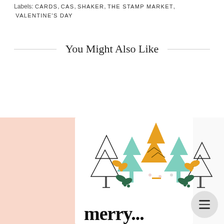Labels: CARDS, CAS, SHAKER, THE STAMP MARKET, VALENTINE'S DAY
You Might Also Like
[Figure (photo): A crafted greeting card with illustrated Christmas trees (outline, mint green, and golden yellow), holly leaves, and decorative elements on a white background. Text partially visible at bottom. Pink blurred background visible on left and right edges.]